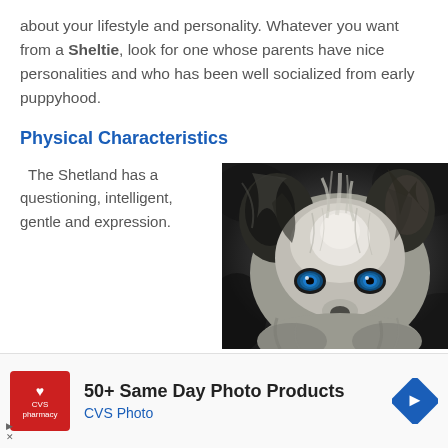about your lifestyle and personality. Whatever you want from a Sheltie, look for one whose parents have nice personalities and who has been well socialized from early puppyhood.
Physical Characteristics
The Shetland has a questioning, intelligent, gentle and expression.
[Figure (photo): Close-up photograph of a Shetland Sheepdog (Sheltie) with fluffy gray and black fur, pointed ears, and striking blue eyes, looking upward against a dark background.]
though it
[Figure (infographic): CVS Pharmacy advertisement banner: CVS Pharmacy logo on red background, headline '50+ Same Day Photo Products', subtext 'CVS Photo', and a blue navigation/map icon on the right.]